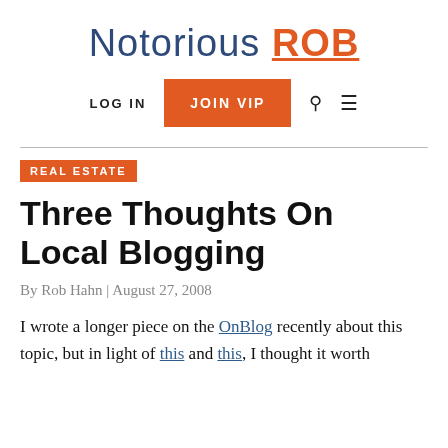Notorious ROB
LOG IN | JOIN VIP | Search | Menu
REAL ESTATE
Three Thoughts On Local Blogging
By Rob Hahn | August 27, 2008
I wrote a longer piece on the OnBlog recently about this topic, but in light of this and this, I thought it worth